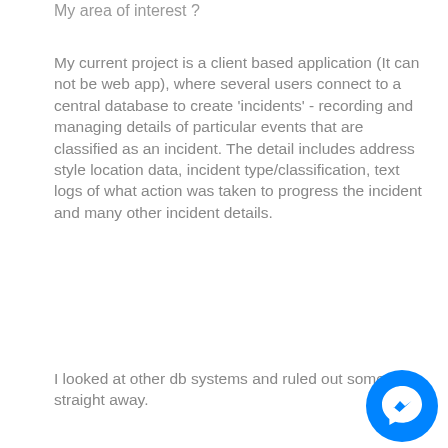My area of interest ?
My current project is a client based application (It can not be web app), where several users connect to a central database to create 'incidents' - recording and managing details of particular events that are classified as an incident. The detail includes address style location data, incident type/classification, text logs of what action was taken to progress the incident and many other incident details.
I looked at other db systems and ruled out some straight away.
[Figure (illustration): Messenger chat button icon — a blue circle with a white lightning bolt / speech bubble messenger logo inside it]